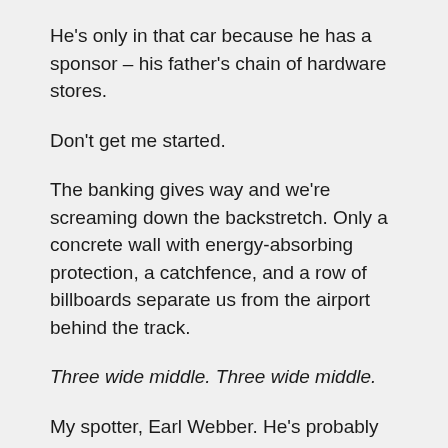He's only in that car because he has a sponsor – his father's chain of hardware stores.
Don't get me started.
The banking gives way and we're screaming down the backstretch. Only a concrete wall with energy-absorbing protection, a catchfence, and a row of billboards separate us from the airport behind the track.
Three wide middle. Three wide middle.
My spotter, Earl Webber. He's probably staring at my car through binoculars from his perch above the press box on the frontstretch. I can only see but so much in this car: out the windshield and through my rearview mirror.